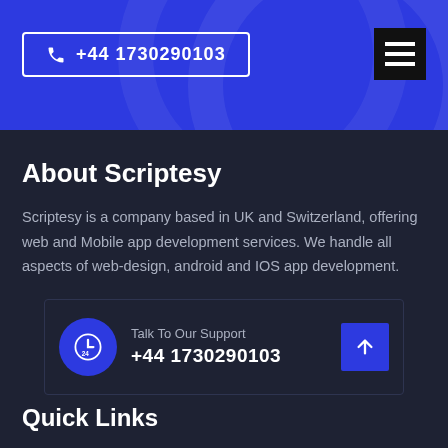+44 1730290103
About Scriptesy
Scriptesy is a company based in UK and Switzerland, offering web and Mobile app development services. We handle all aspects of web-design, android and IOS app development.
Talk To Our Support
+44 1730290103
Quick Links